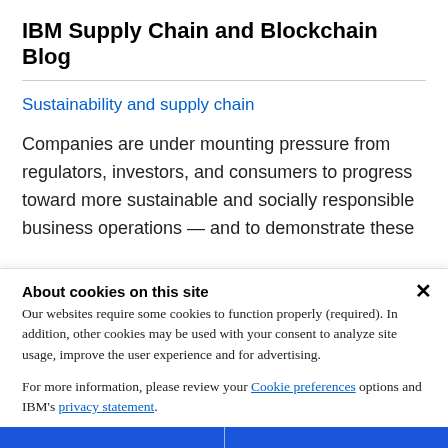IBM Supply Chain and Blockchain Blog
Sustainability and supply chain
Companies are under mounting pressure from regulators, investors, and consumers to progress toward more sustainable and socially responsible business operations — and to demonstrate these
About cookies on this site
Our websites require some cookies to function properly (required). In addition, other cookies may be used with your consent to analyze site usage, improve the user experience and for advertising.
For more information, please review your Cookie preferences options and IBM's privacy statement.
Required only
Accept all